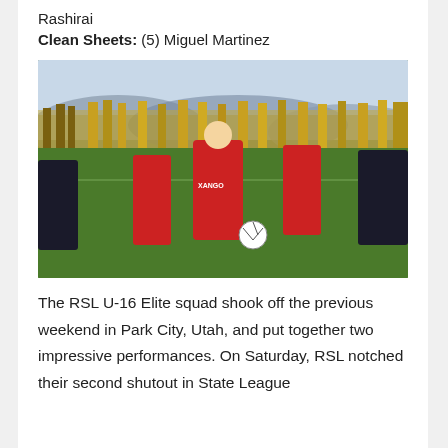Rashirai
Clean Sheets: (5) Miguel Martinez
[Figure (photo): Youth soccer match on a green field. Players in red uniforms (RSL) and black uniforms competing. A player in red with 'XANGO' on jersey dribbles with the ball. Trees and mountains visible in the background.]
The RSL U-16 Elite squad shook off the previous weekend in Park City, Utah, and put together two impressive performances. On Saturday, RSL notched their second shutout in State League